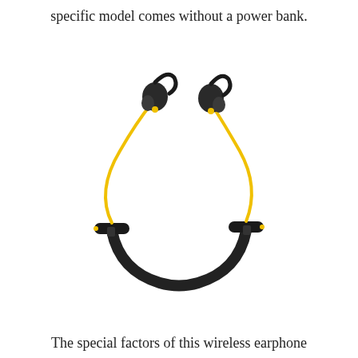specific model comes without a power bank.
[Figure (photo): Wireless neckband earphones with yellow cables and black neckband. The earbuds have ear hooks and the neckband has an inline remote/controller. The cable from neckband to earbuds is bright yellow.]
The special factors of this wireless earphone